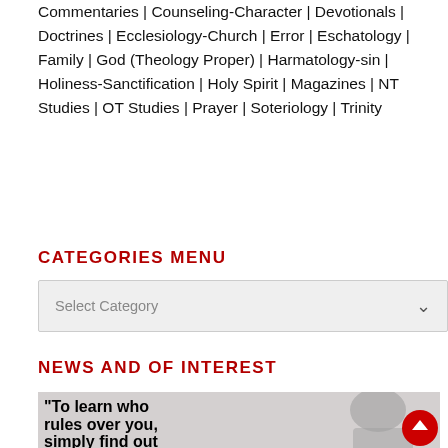Commentaries | Counseling-Character | Devotionals | Doctrines | Ecclesiology-Church | Error | Eschatology | Family | God (Theology Proper) | Harmatology-sin | Holiness-Sanctification | Holy Spirit | Magazines | NT Studies | OT Studies | Prayer | Soteriology | Trinity
CATEGORIES MENU
[Figure (screenshot): Dropdown select box with placeholder text 'Select Category' and a chevron arrow on the right]
NEWS AND OF INTEREST
[Figure (photo): Image with bold text quote: 'To learn who rules over you, simply find out who you...' on a gray background with a partial figure image on the right and a red circular scroll-up button.]